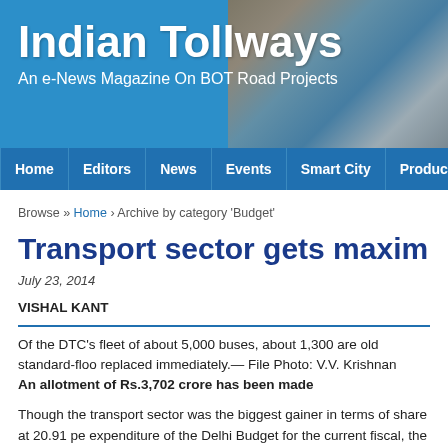Indian Tollways — An e-News Magazine On BOT Road Projects
[Figure (photo): Header banner with site title 'Indian Tollways' and subtitle 'An e-News Magazine On BOT Road Projects' on blue background, with a photo of a toll plaza on the right side.]
Home | Editors | News | Events | Smart City | Product | Leisure
Browse » Home › Archive by category 'Budget'
Transport sector gets maximum
July 23, 2014
VISHAL KANT
Of the DTC's fleet of about 5,000 buses, about 1,300 are old standard-floor replaced immediately.— File Photo: V.V. Krishnan
An allotment of Rs.3,702 crore has been made
Though the transport sector was the biggest gainer in terms of share at 20.91 pe expenditure of the Delhi Budget for the current fiscal, the financial statement table making any new major announcements in the sector.